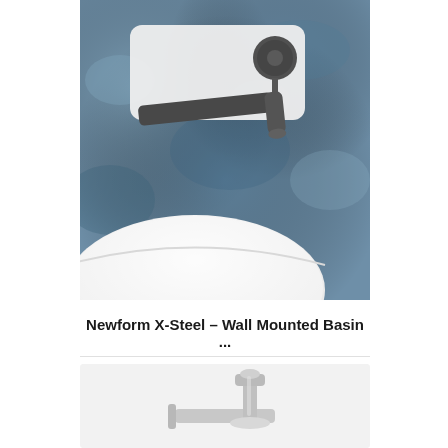[Figure (photo): Close-up photo of a Newform X-Steel wall mounted basin faucet with cylindrical handle, dark gunmetal spout attached to a white rectangular wall plate, above a round white ceramic basin sink, against a blue textured wall background.]
Newform X-Steel – Wall Mounted Basin ...
[Figure (photo): Partial photo of another faucet product (bottom card, cropped), showing a chrome/brushed metal basin mixer faucet on a light grey background.]